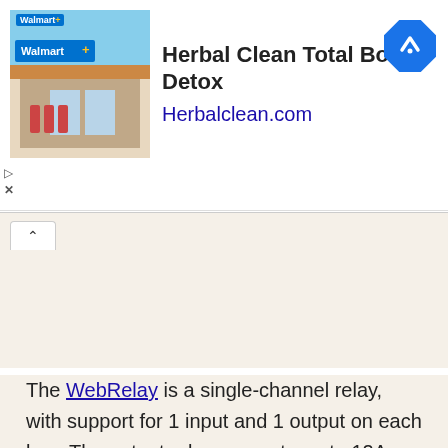[Figure (screenshot): Advertisement banner for Herbal Clean Total Body Detox showing a Walmart store exterior with product bottles, the text 'Herbal Clean Total Body Detox' and 'Herbalclean.com', a blue navigation arrow icon, and play/close controls.]
[Figure (screenshot): Collapsed UI section with a collapse/expand button (caret up icon) and a white content box area on a beige background.]
The WebRelay is a single-channel relay, with support for 1 input and 1 output on each box. The output relay supports up to 12A 240V AC, and also 30V DC. I’m listing this here as a ‘low-voltage’ relay, as it doesn’t provide a particularly safe way to connect mains power (it simply has screw-terminals, which are on the outside of the box).